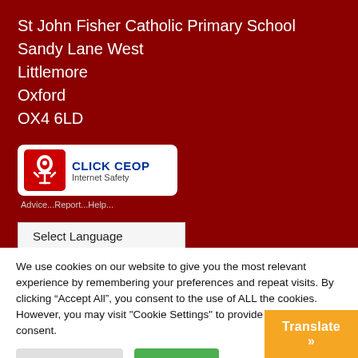St John Fisher Catholic Primary School
Sandy Lane West
Littlemore
Oxford
OX4 6LD
[Figure (logo): CLICK CEOP Internet Safety badge with a stylized figure icon in red and white, text reading CLICK CEOP and Internet Safety, with tagline Advice...Report...Help...]
Select Language
We use cookies on our website to give you the most relevant experience by remembering your preferences and repeat visits. By clicking “Accept All”, you consent to the use of ALL the cookies. However, you may visit "Cookie Settings" to provide a controlled consent.
Cookie Settings
Accept All
Translate »